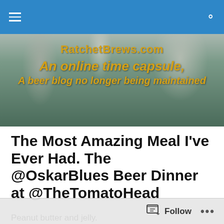Navigation bar with hamburger menu and search icon
[Figure (photo): Banner image for RatchetBrews.com showing brewing equipment in the background with text overlay reading 'RatchetBrews.com / An online time capsule, / A beer blog no longer being maintained']
The Most Amazing Meal I've Ever Had. The @OskarBlues Beer Dinner at @TheTomatoHead
Peanut butter and jelly.
Salt and pepper.
Follow  ...